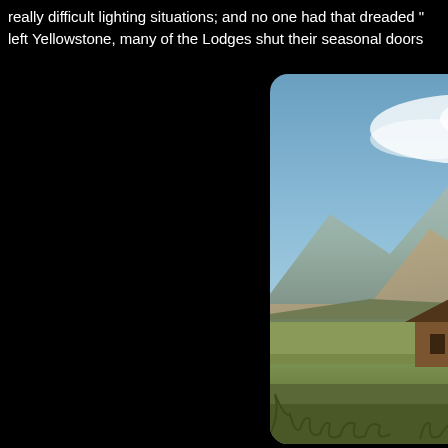really difficult lighting situations; and no one had that dreaded “ left Yellowstone, many of the Lodges shut their seasonal doors
[Figure (photo): A bison standing in a grassy field with historic wooden log barns in the background and the Grand Teton mountain range under a partly cloudy blue sky. The scene is lit with warm golden light, suggesting early morning or late afternoon. The photo has rounded corners on the left side.]